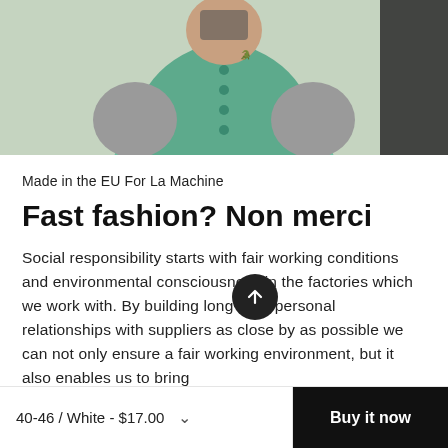[Figure (photo): Person wearing a teal/mint green vest over a grey long-sleeve shirt, photographed from chest up against a light background]
Made in the EU For La Machine
Fast fashion? Non merci
Social responsibility starts with fair working conditions and environmental consciousness in the factories which we work with. By building long-term personal relationships with suppliers as close by as possible we can not only ensure a fair working environment, but it also enables us to bring
40-46 / White - $17.00
Buy it now